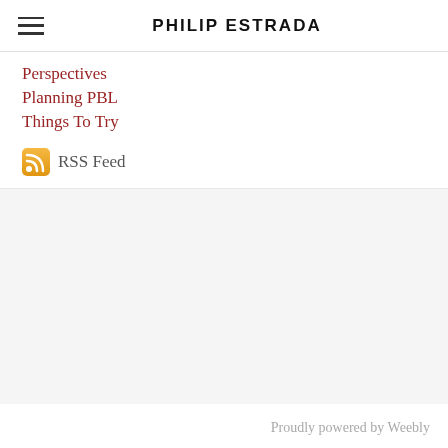PHILIP ESTRADA
Perspectives
Planning PBL
Things To Try
RSS Feed
Proudly powered by Weebly